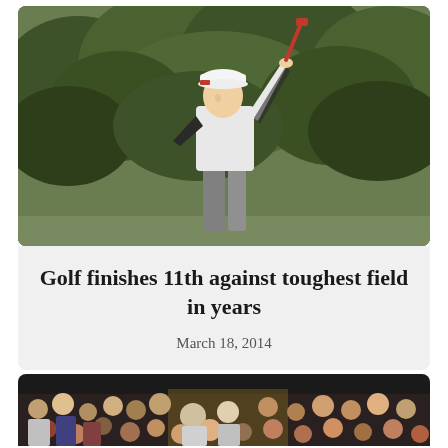[Figure (photo): A golfer in white shirt and grey pants mid-swing with a club, wearing a white cap, with green trees in the background]
Golf finishes 11th against toughest field in years
March 18, 2014
[Figure (photo): Crowd of spectators at an indoor sports event, partially visible at bottom of page]